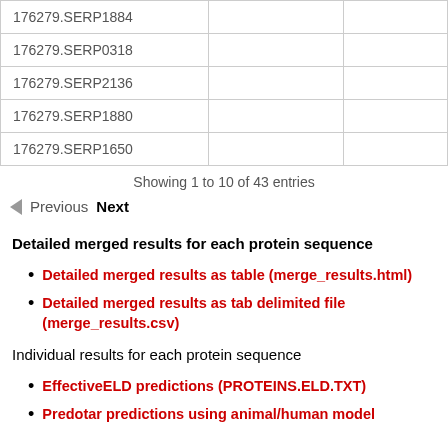|  |  |  |
| --- | --- | --- |
| 176279.SERP1884 |  |  |
| 176279.SERP0318 |  |  |
| 176279.SERP2136 |  |  |
| 176279.SERP1880 |  |  |
| 176279.SERP1650 |  |  |
Showing 1 to 10 of 43 entries
Previous  Next
Detailed merged results for each protein sequence
Detailed merged results as table (merge_results.html)
Detailed merged results as tab delimited file (merge_results.csv)
Individual results for each protein sequence
EffectiveELD predictions (PROTEINS.ELD.TXT)
Predotar predictions using animal/human model